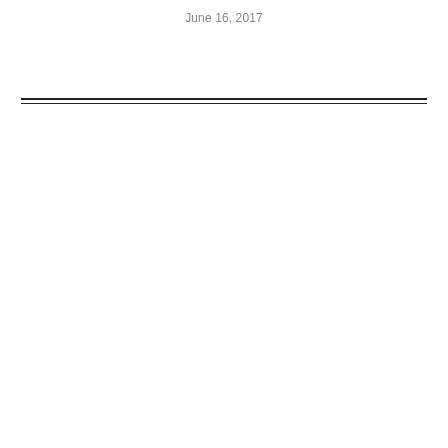June 16, 2017
[Figure (other): Double horizontal rule divider line spanning the width of the page]